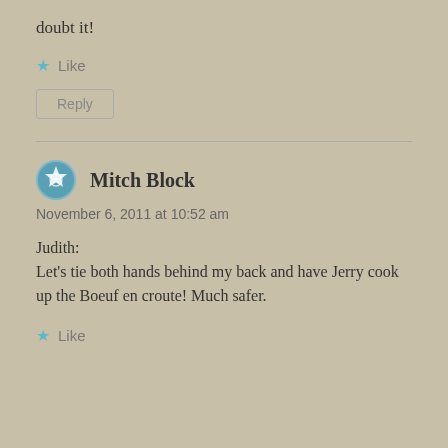doubt it!
★ Like
Reply
Mitch Block
November 6, 2011 at 10:52 am
Judith:
Let's tie both hands behind my back and have Jerry cook up the Boeuf en croute! Much safer.
★ Like